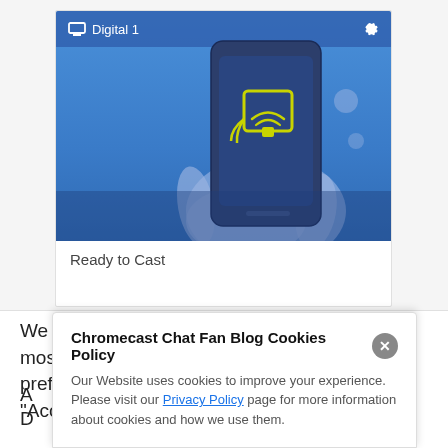[Figure (screenshot): Screenshot of a Chromecast app interface showing 'Digital 1' device card with a blue illustration of a hand holding a smartphone with a cast icon, and 'Ready to Cast' text below.]
We use cookies on our website to give you the most relevant experience by remembering your preferences and repeat visits. By clicking “Accept”, you consent to the use of ALL the cookies.
Chromecast Chat Fan Blog Cookies Policy
Our Website uses cookies to improve your experience. Please visit our Privacy Policy page for more information about cookies and how we use them.